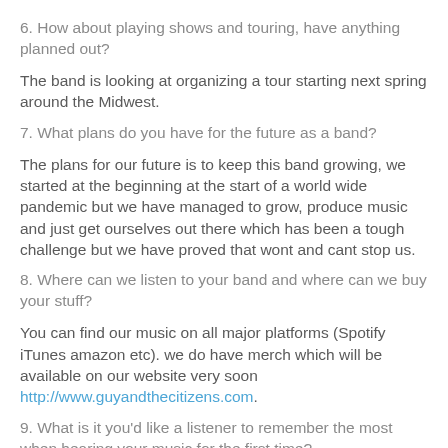6. How about playing shows and touring, have anything planned out?
The band is looking at organizing a tour starting next spring around the Midwest.
7. What plans do you have for the future as a band?
The plans for our future is to keep this band growing, we started at the beginning at the start of a world wide pandemic but we have managed to grow, produce music and just get ourselves out there which has been a tough challenge but we have proved that wont and cant stop us.
8. Where can we listen to your band and where can we buy your stuff?
You can find our music on all major platforms (Spotify iTunes amazon etc). we do have merch which will be available on our website very soon http://www.guyandthecitizens.com.
9. What is it you'd like a listener to remember the most when hearing your music for the first time?